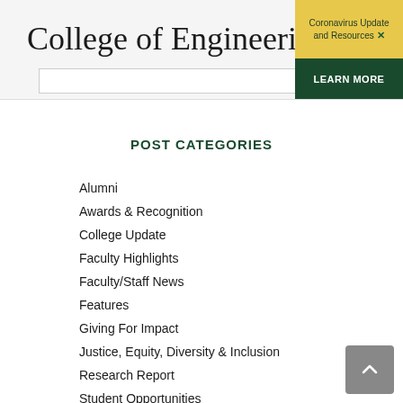College of Engineering
Coronavirus Update and Resources ×
LEARN MORE
POST CATEGORIES
Alumni
Awards & Recognition
College Update
Faculty Highlights
Faculty/Staff News
Features
Giving For Impact
Justice, Equity, Diversity & Inclusion
Research Report
Student Opportunities
Upcoming Events
Virtual Learn by Doing